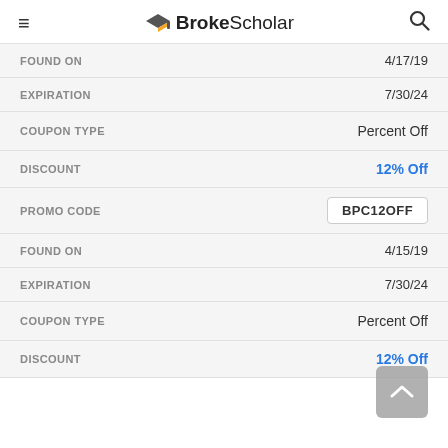BrokeScholar
| Field | Value |
| --- | --- |
| FOUND ON | 4/17/19 |
| EXPIRATION | 7/30/24 |
| COUPON TYPE | Percent Off |
| DISCOUNT | 12% Off |
| PROMO CODE | BPC12OFF |
| FOUND ON | 4/15/19 |
| EXPIRATION | 7/30/24 |
| COUPON TYPE | Percent Off |
| DISCOUNT | 12% Off |